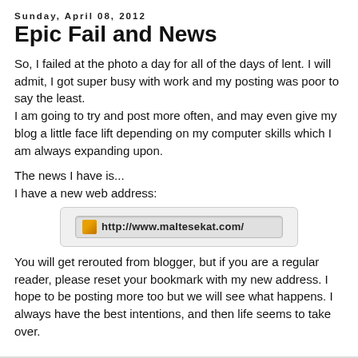Sunday, April 08, 2012
Epic Fail and News
So, I failed at the photo a day for all of the days of lent. I will admit, I got super busy with work and my posting was poor to say the least.
I am going to try and post more often, and may even give my blog a little face lift depending on my computer skills which I am always expanding upon.
The news I have is...
I have a new web address:
[Figure (screenshot): Browser address bar screenshot showing URL http://www.maltesekat.com/]
You will get rerouted from blogger, but if you are a regular reader, please reset your bookmark with my new address. I hope to be posting more too but we will see what happens. I always have the best intentions, and then life seems to take over.